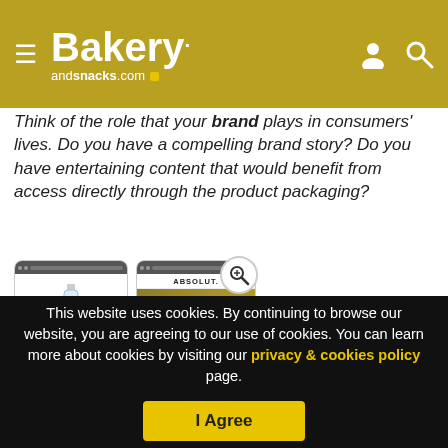Bakery andsnacks.com
Think of the role that your brand plays in consumers' lives. Do you have a compelling brand story? Do you have entertaining content that would benefit from access directly through the product packaging?
[Figure (screenshot): Two smartphone mockups showing a product app. Left: an Absolut vodka bottle with WELCOME text. Right: Absolut app with Production and Journey menu cards, plus a zoom magnifier icon overlay.]
This website uses cookies. By continuing to browse our website, you are agreeing to our use of cookies. You can learn more about cookies by visiting our privacy & cookies policy page.